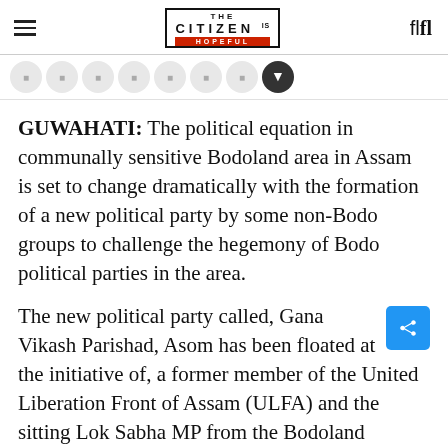THE CITIZEN IS HOPEFUL
GUWAHATI: The political equation in communally sensitive Bodoland area in Assam is set to change dramatically with the formation of a new political party by some non-Bodo groups to challenge the hegemony of Bodo political parties in the area.
The new political party called, Gana Vikash Parishad, Asom has been floated at the initiative of, a former member of the United Liberation Front of Assam (ULFA) and the sitting Lok Sabha MP from the Bodoland Territorial Autonomous District (BTAD), Naba Kumar